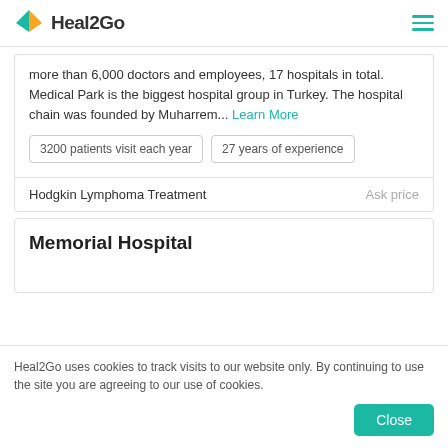Heal2Go
more than 6,000 doctors and employees, 17 hospitals in total. Medical Park is the biggest hospital group in Turkey. The hospital chain was founded by Muharrem... Learn More
3200 patients visit each year
27 years of experience
Hodgkin Lymphoma Treatment
Ask price
Memorial Hospital
Heal2Go uses cookies to track visits to our website only. By continuing to use the site you are agreeing to our use of cookies.